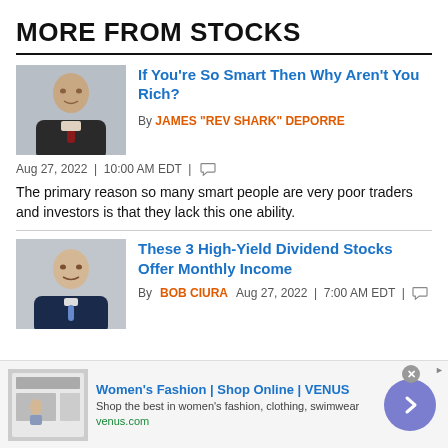MORE FROM STOCKS
If You're So Smart Then Why Aren't You Rich?
By JAMES "REV SHARK" DEPORRE
Aug 27, 2022 | 10:00 AM EDT |
The primary reason so many smart people are very poor traders and investors is that they lack this one ability.
These 3 High-Yield Dividend Stocks Offer Monthly Income
By BOB CIURA  Aug 27, 2022 | 7:00 AM EDT |
Women's Fashion | Shop Online | VENUS
Shop the best in women's fashion, clothing, swimwear
venus.com